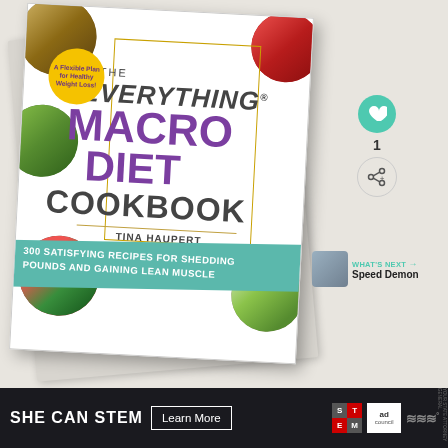[Figure (illustration): Book cover of 'The Everything Macro Diet Cookbook' by Tina Haupert of Carrots N Cake. Features food photography circles (salads, pomegranate, grain bowls), a yellow circular badge reading 'A Flexible Plan for Healthy Weight Loss!', large purple text for MACRO DIET, and a teal banner reading '300 SATISFYING RECIPES FOR SHEDDING POUNDS AND GAINING LEAN MUSCLE'. Two books are stacked at a slight angle on a light beige background.]
[Figure (infographic): Right-side UI overlay: teal heart button with count '1' below it, share button, 'WHAT'S NEXT →' label in teal with thumbnail and title 'Speed Demon']
WHAT'S NEXT → Speed Demon
[Figure (infographic): Bottom ad bar on dark background: 'SHE CAN STEM' in white bold text, 'Learn More' button with white border, STEM logo grid, Ad Council logo, and wave/Meredith logo]
SHE CAN STEM   Learn More